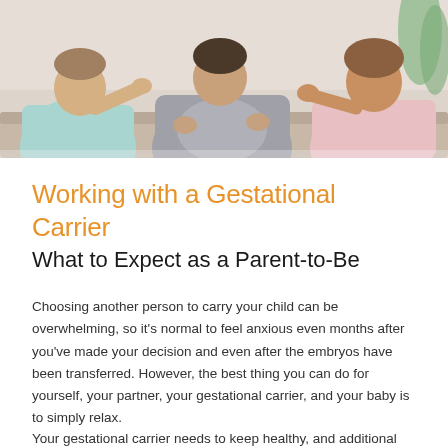[Figure (photo): Three people sitting on a sofa: a person in a light teal/blue shirt on the left, a pregnant person in a gray shirt in the middle, and a person in a pink shirt on the right. They appear to be having a conversation, with hands gesturing. A plant is visible on the right side.]
Working with a Gestational Carrier
What to Expect as a Parent-to-Be
Choosing another person to carry your child can be overwhelming, so it's normal to feel anxious even months after you've made your decision and even after the embryos have been transferred. However, the best thing you can do for yourself, your partner, your gestational carrier, and your baby is to simply relax.
Your gestational carrier needs to keep healthy, and additional